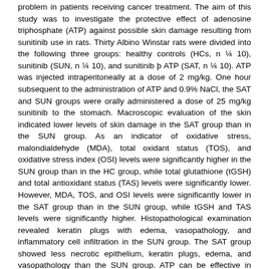problem in patients receiving cancer treatment. The aim of this study was to investigate the protective effect of adenosine triphosphate (ATP) against possible skin damage resulting from sunitinib use in rats. Thirty Albino Winstar rats were divided into the following three groups: healthy controls (HCs, n ¼ 10), sunitinib (SUN, n ¼ 10), and sunitinib þ ATP (SAT, n ¼ 10). ATP was injected intraperitoneally at a dose of 2 mg/kg. One hour subsequent to the administration of ATP and 0.9% NaCl, the SAT and SUN groups were orally administered a dose of 25 mg/kg sunitinib to the stomach. Macroscopic evaluation of the skin indicated lower levels of skin damage in the SAT group than in the SUN group. As an indicator of oxidative stress, malondialdehyde (MDA), total oxidant status (TOS), and oxidative stress index (OSI) levels were significantly higher in the SUN group than in the HC group, while total glutathione (tGSH) and total antioxidant status (TAS) levels were significantly lower. However, MDA, TOS, and OSI levels were significantly lower in the SAT group than in the SUN group, while tGSH and TAS levels were significantly higher. Histopathological examination revealed keratin plugs with edema, vasopathology, and inflammatory cell infiltration in the SUN group. The SAT group showed less necrotic epithelium, keratin plugs, edema, and vasopathology than the SUN group. ATP can be effective in preventing skin damage caused by sunitinib use by reducing oxidative stress.
Kaynak